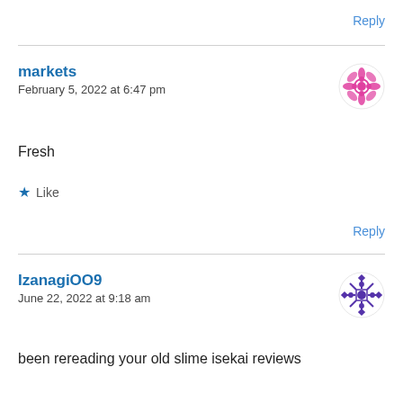Reply
markets
February 5, 2022 at 6:47 pm
Fresh
Like
Reply
IzanagiOO9
June 22, 2022 at 9:18 am
been rereading your old slime isekai reviews